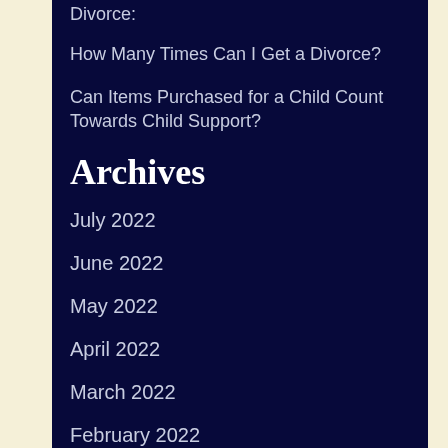Divorce:
How Many Times Can I Get a Divorce?
Can Items Purchased for a Child Count Towards Child Support?
Archives
July 2022
June 2022
May 2022
April 2022
March 2022
February 2022
January 2022
December 2021
November 2021